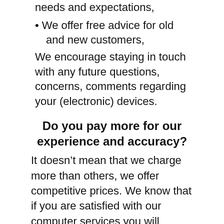needs and expectations,
We offer free advice for old and new customers,
We encourage staying in touch with any future questions, concerns, comments regarding your (electronic) devices.
Do you pay more for our experience and accuracy?
It doesn’t mean that we charge more than others, we offer competitive prices. We know that if you are satisfied with our computer services you will contact us again and/or recommend to you friends.